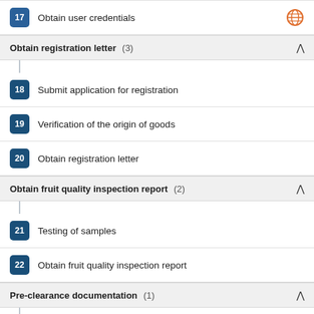17 Obtain user credentials
Obtain registration letter (3)
18 Submit application for registration
19 Verification of the origin of goods
20 Obtain registration letter
Obtain fruit quality inspection report (2)
21 Testing of samples
22 Obtain fruit quality inspection report
Pre-clearance documentation (1)
23 Contract a clearing agent
Obtain EU certificate of origin (6)